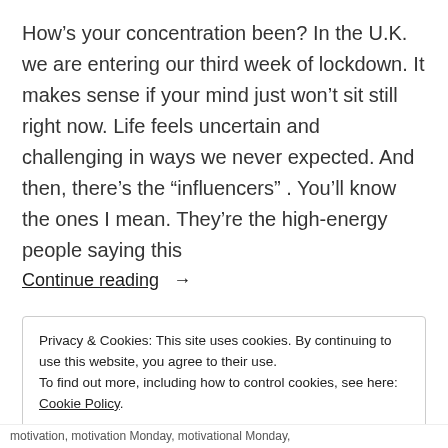How’s your concentration been? In the U.K. we are entering our third week of lockdown. It makes sense if your mind just won’t sit still right now. Life feels uncertain and challenging in ways we never expected. And then, there’s the “influencers” . You’ll know the ones I mean. They’re the high-energy people saying this
Continue reading →
Privacy & Cookies: This site uses cookies. By continuing to use this website, you agree to their use.
To find out more, including how to control cookies, see here: Cookie Policy
Close and accept
motivation, motivation Monday, motivational Monday,